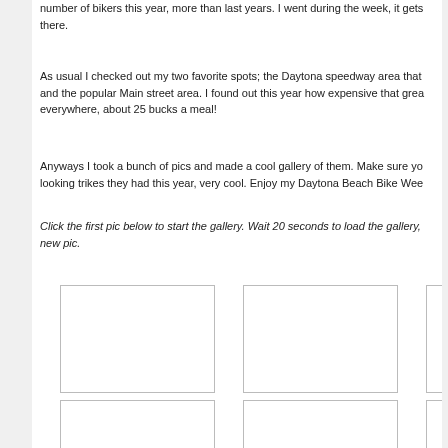number of bikers this year, more than last years. I went during the week, it gets there.
As usual I checked out my two favorite spots; the Daytona speedway area that and the popular Main street area. I found out this year how expensive that grea everywhere, about 25 bucks a meal!
Anyways I took a bunch of pics and made a cool gallery of them. Make sure yo looking trikes they had this year, very cool. Enjoy my Daytona Beach Bike Wee
Click the first pic below to start the gallery. Wait 20 seconds to load the gallery, new pic.
[Figure (photo): Empty photo placeholder box 1]
[Figure (photo): Empty photo placeholder box 2]
[Figure (photo): Empty photo placeholder box 3 (partial)]
[Figure (photo): Empty photo placeholder box 4]
[Figure (photo): Empty photo placeholder box 5]
[Figure (photo): Empty photo placeholder box 6 (partial)]